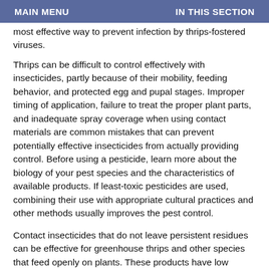MAIN MENU    IN THIS SECTION
most effective way to prevent infection by thrips-fostered viruses.
Thrips can be difficult to control effectively with insecticides, partly because of their mobility, feeding behavior, and protected egg and pupal stages. Improper timing of application, failure to treat the proper plant parts, and inadequate spray coverage when using contact materials are common mistakes that can prevent potentially effective insecticides from actually providing control. Before using a pesticide, learn more about the biology of your pest species and the characteristics of available products. If least-toxic pesticides are used, combining their use with appropriate cultural practices and other methods usually improves the pest control.
Contact insecticides that do not leave persistent residues can be effective for greenhouse thrips and other species that feed openly on plants. These products have low toxicity to people, pets, and pollinators and relatively little adverse